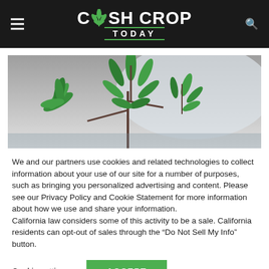Cash Crop Today — site header with hamburger menu and search icon
[Figure (photo): Cannabis plant with green leaves against a grey sky background, panoramic banner image]
We and our partners use cookies and related technologies to collect information about your use of our site for a number of purposes, such as bringing you personalized advertising and content. Please see our Privacy Policy and Cookie Statement for more information about how we use and share your information.
California law considers some of this activity to be a sale. California residents can opt-out of sales through the “Do Not Sell My Info” button.
Cookie settings   ACCEPT